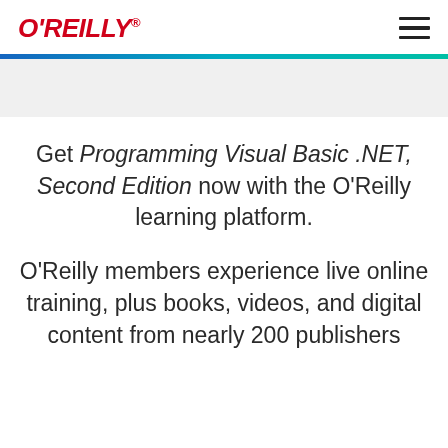O'REILLY
Get Programming Visual Basic .NET, Second Edition now with the O'Reilly learning platform.
O'Reilly members experience live online training, plus books, videos, and digital content from nearly 200 publishers